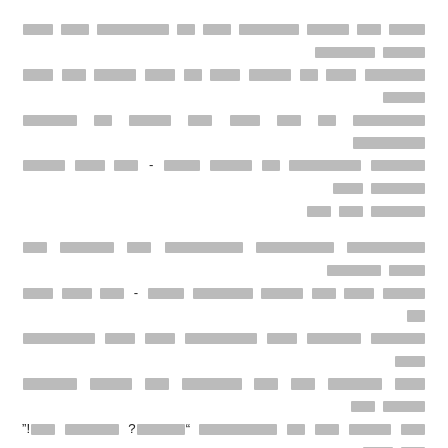[Redacted Hebrew/Arabic text block 1 - paragraph 1]
[Redacted Hebrew/Arabic text block 2 - paragraph 2 with quotation marks and parenthetical]